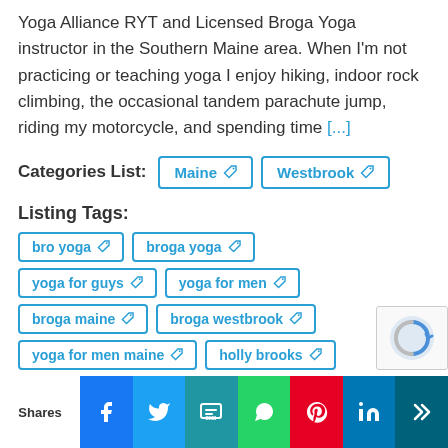Yoga Alliance RYT and Licensed Broga Yoga instructor in the Southern Maine area. When I'm not practicing or teaching yoga I enjoy hiking, indoor rock climbing, the occasional tandem parachute jump, riding my motorcycle, and spending time [...]
Categories List: Maine | Westbrook
Listing Tags:
bro yoga
broga yoga
yoga for guys
yoga for men
broga maine
broga westbrook
yoga for men maine
holly brooks
private broga sessions
yoga for athletes
hiit yoga
Shares | Facebook | Twitter | SMS | WhatsApp | Pinterest | LinkedIn | More